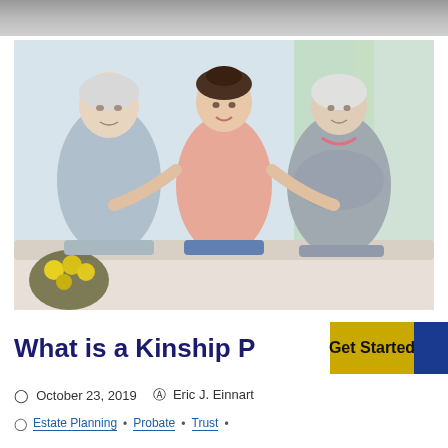[Figure (photo): Young woman with arms around elderly man on left and elderly woman on right, sitting on a sofa, with yellow flowers in the foreground and a light interior background]
What is a Kinship P
Get Started
October 23, 2019   Eric J. Einnart